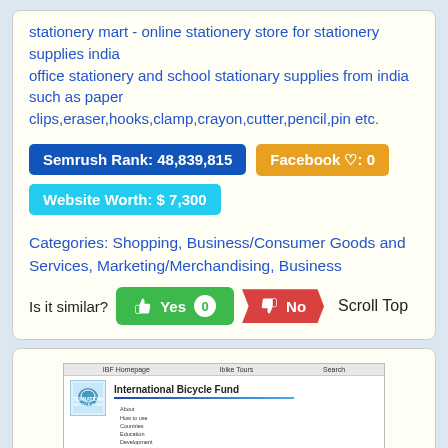stationery mart - online stationery store for stationery supplies india
office stationery and school stationary supplies from india such as paper clips,eraser,hooks,clamp,crayon,cutter,pencil,pin etc.
Semrush Rank: 48,839,815
Facebook ♡: 0
Website Worth: $ 7,300
Categories: Shopping, Business/Consumer Goods and Services, Marketing/Merchandising, Business
Is it similar?  Yes  0   No   Scroll Top
[Figure (screenshot): Screenshot of International Bicycle Fund website with logo, navigation bar showing IBF Homepage, Ibike Tours, Search, title 'International Bicycle Fund', and descriptive text about the organization.]